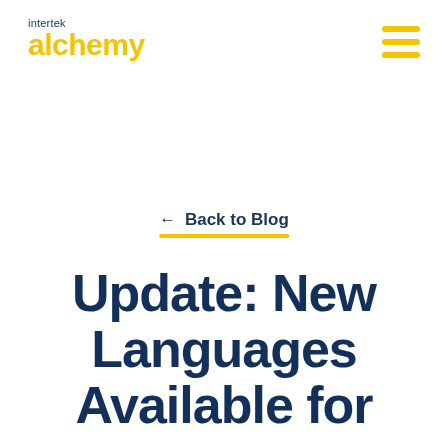intertek alchemy
← Back to Blog
Update: New Languages Available for